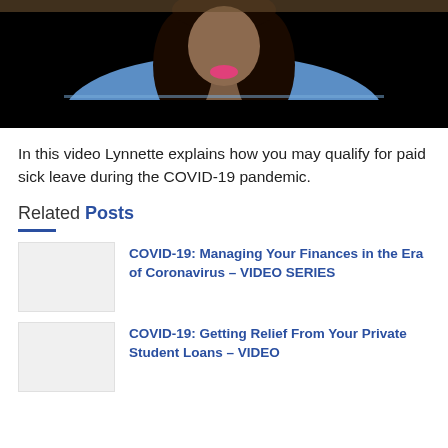[Figure (photo): Video thumbnail showing a woman with long dark hair wearing a blue patterned top, speaking. The lower portion of the frame is black (letterbox).]
In this video Lynnette explains how you may qualify for paid sick leave during the COVID-19 pandemic.
Related Posts
[Figure (photo): Thumbnail image placeholder for related post (light gray rectangle)]
COVID-19: Managing Your Finances in the Era of Coronavirus – VIDEO SERIES
[Figure (photo): Thumbnail image placeholder for related post (light gray rectangle)]
COVID-19: Getting Relief From Your Private Student Loans – VIDEO